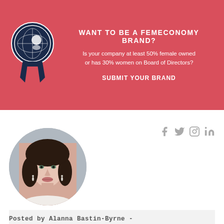[Figure (infographic): Red promotional banner with a navy blue badge/ribbon icon on the left. Text reads: WANT TO BE A FEMECONOMY BRAND? Is your company at least 50% female owned or has 30% women on Board of Directors? SUBMIT YOUR BRAND]
[Figure (photo): Circular cropped headshot of a woman with dark shoulder-length hair, light skin, wearing small drop earrings, photographed against a light grey background.]
Posted by Alanna Bastin-Byrne - Femeconomy Director
CEO of the house, community builder and a globetrotting nomad. Background in Marketing and Communications leadership in the UK and Australia.